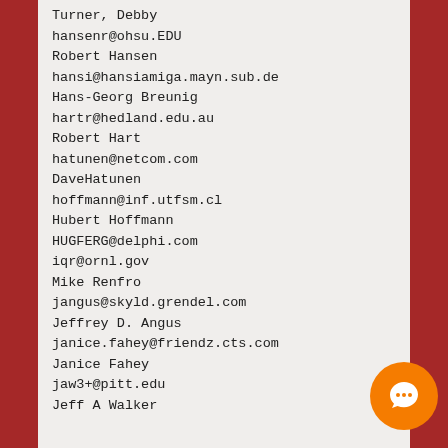Turner, Debby
hansenr@ohsu.EDU
Robert Hansen
hansi@hansiamiga.mayn.sub.de
Hans-Georg Breunig
hartr@hedland.edu.au
Robert Hart
hatunen@netcom.com
DaveHatunen
hoffmann@inf.utfsm.cl
Hubert Hoffmann
HUGFERG@delphi.com
iqr@ornl.gov
Mike Renfro
jangus@skyld.grendel.com
Jeffrey D. Angus
janice.fahey@friendz.cts.com
Janice Fahey
jaw3+@pitt.edu
Jeff A Walker